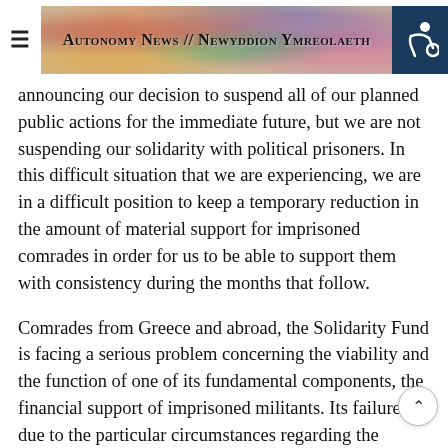Autonomy News // Newyddion Ymreolaeth
announcing our decision to suspend all of our planned public actions for the immediate future, but we are not suspending our solidarity with political prisoners. In this difficult situation that we are experiencing, we are in a difficult position to keep a temporary reduction in the amount of material support for imprisoned comrades in order for us to be able to support them with consistency during the months that follow.
Comrades from Greece and abroad, the Solidarity Fund is facing a serious problem concerning the viability and the function of one of its fundamental components, the financial support of imprisoned militants. Its failure, due to the particular circumstances regarding the pandemic, to ensure its resources through its public acts could possibly lead complete financial deadlock and the practical support